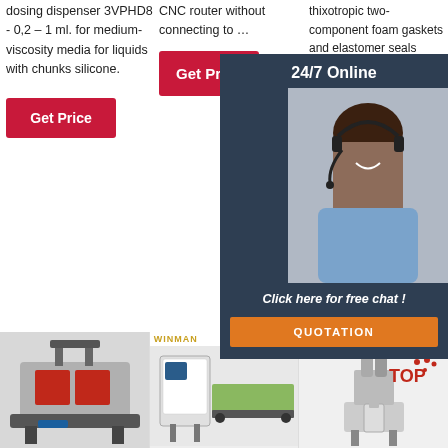dosing dispenser 3VPHD8 - 0,2 – 1 ml. for medium-viscosity media for liquids with chunks silicone.
Get Price
CNC router without connecting to …
Get Price
thixotropic two-component foam gaskets and elastomer seals based on polyurethane silicone gasket using b in plac or FIP
[Figure (infographic): 24/7 Online chat popup with female agent wearing headset, dark navy background, orange QUOTATION button, text: Click here for free chat!]
Get
[Figure (photo): Industrial machine on left - red and black dispensing/sealing machine]
[Figure (photo): Center machine - WINMAN branded CNC router/processing machine, industrial white and green]
[Figure (photo): Right machine - industrial dispensing/mixing machine with TOP branding and dotted logo]